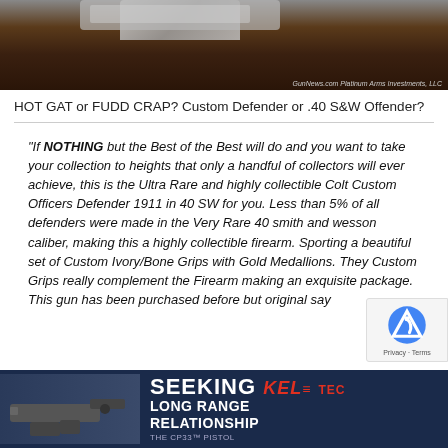[Figure (photo): Close-up photo of what appears to be a firearm or metallic object on a dark wooden surface. Photo credit text visible in lower right corner.]
HOT GAT or FUDD CRAP? Custom Defender or .40 S&W Offender?
“If NOTHING but the Best of the Best will do and you want to take your collection to heights that only a handful of collectors will ever achieve, this is the Ultra Rare and highly collectible Colt Custom Officers Defender 1911 in 40 SW for you. Less than 5% of all defenders were made in the Very Rare 40 smith and wesson caliber, making this a highly collectible firearm. Sporting a beautiful set of Custom Ivory/Bone Grips with Gold Medallions. They Custom Grips really complement the Firearm making an exquisite package. This gun has been purchased before but original say pu
[Figure (advertisement): KEL-TEC advertisement banner. Dark blue background with image of a handgun on left, text 'SEEKING LONG RANGE RELATIONSHIP' and KEL-TEC logo with 'THE CP33 PISTOL' text.]